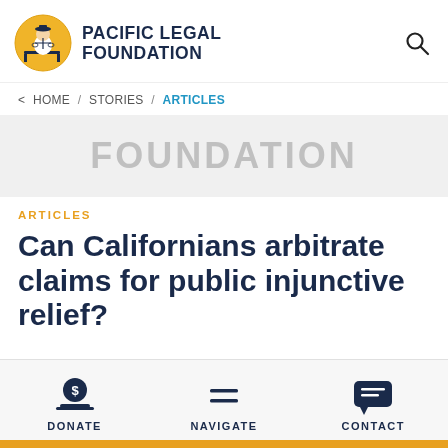[Figure (logo): Pacific Legal Foundation logo with circular emblem showing figure with scales of justice on yellow/gold background, with bold text PACIFIC LEGAL FOUNDATION]
HOME / STORIES / ARTICLES
[Figure (illustration): Gray banner with large light gray text reading FOUNDATION as a watermark/background image]
ARTICLES
Can Californians arbitrate claims for public injunctive relief?
DONATE   NAVIGATE   CONTACT